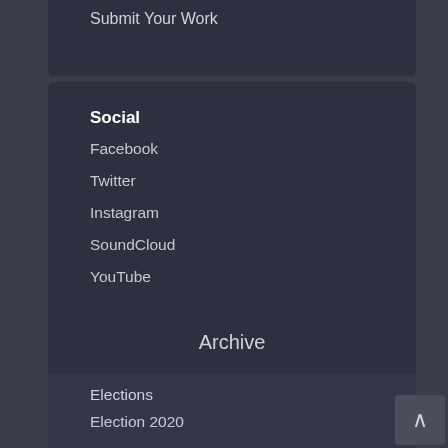Submit Your Work
Social
Facebook
Twitter
Instagram
SoundCloud
YouTube
Archive
Elections
Election 2020
Midterm Election 2018
Election 2016
CES
CES 2019